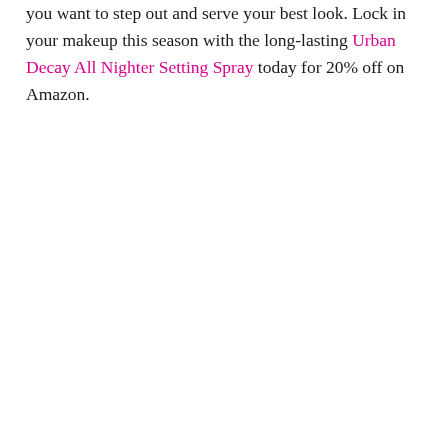you want to step out and serve your best look. Lock in your makeup this season with the long-lasting Urban Decay All Nighter Setting Spray today for 20% off on Amazon.